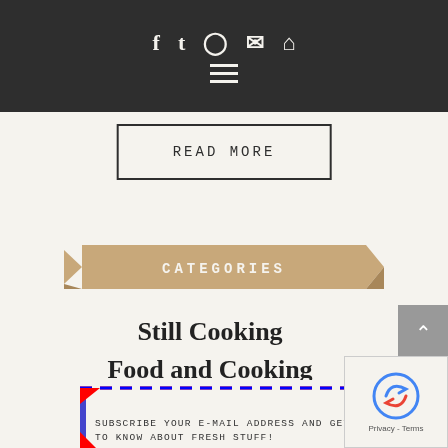Navigation bar with social icons (Facebook, Twitter, Instagram, Email, Home) and hamburger menu
READ MORE
CATEGORIES
Still Cooking
Food and Cooking
Cheese Heals
Stories
SUBSCRIBE YOUR E-MAIL ADDRESS AND GET TO KNOW ABOUT FRESH STUFF!